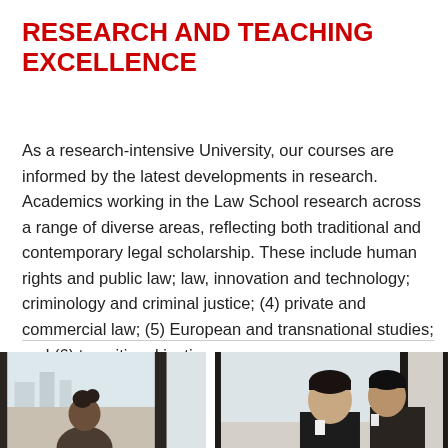RESEARCH AND TEACHING EXCELLENCE
As a research-intensive University, our courses are informed by the latest developments in research. Academics working in the Law School research across a range of diverse areas, reflecting both traditional and contemporary legal scholarship. These include human rights and public law; law, innovation and technology; criminology and criminal justice; (4) private and commercial law; (5) European and transnational studies; and (6) transitional justice.
[Figure (photo): Two side-by-side photographs: left shows a person (partially visible) with a city background; right shows two young men in conversation, likely in an academic or professional setting.]